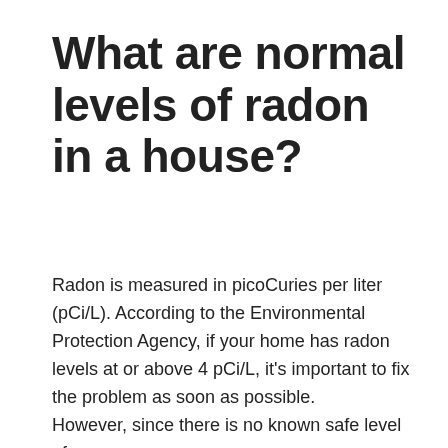What are normal levels of radon in a house?
Radon is measured in picoCuries per liter (pCi/L). According to the Environmental Protection Agency, if your home has radon levels at or above 4 pCi/L, it's important to fix the problem as soon as possible.
However, since there is no known safe level of exposure to radon, the EPA recommends that...